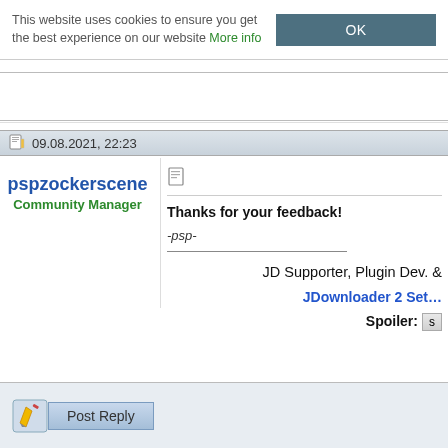This website uses cookies to ensure you get the best experience on our website More info
OK
09.08.2021, 22:23
[Figure (illustration): Forum user avatar: globe with yellow arrow and German flag]
pspzockerscene
Community Manager
Thanks for your feedback!
-psp-
JD Supporter, Plugin Dev. &
JDownloader 2 Set…
Spoiler:  s
[Figure (illustration): Post Reply button with pencil icon]